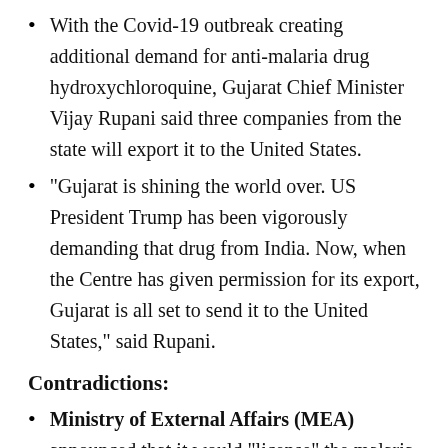With the Covid-19 outbreak creating additional demand for anti-malaria drug hydroxychloroquine, Gujarat Chief Minister Vijay Rupani said three companies from the state will export it to the United States.
“Gujarat is shining the world over. US President Trump has been vigorously demanding that drug from India. Now, when the Centre has given permission for its export, Gujarat is all set to send it to the United States,” said Rupani.
Contradictions:
Ministry of External Affairs (MEA) announced that it would “license” the malaria drug hydroxychloroquine (HCQ) and